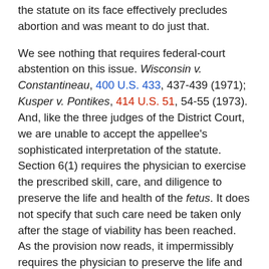the statute on its face effectively precludes abortion and was meant to do just that.
We see nothing that requires federal-court abstention on this issue. Wisconsin v. Constantineau, 400 U.S. 433, 437-439 (1971); Kusper v. Pontikes, 414 U.S. 51, 54-55 (1973). And, like the three judges of the District Court, we are unable to accept the appellee's sophisticated interpretation of the statute. Section 6(1) requires the physician to exercise the prescribed skill, care, and diligence to preserve the life and health of the fetus. It does not specify that such care need be taken only after the stage of viability has been reached. As the provision now reads, it impermissibly requires the physician to preserve the life and health of the fetus, whatever the stage of pregnancy. The fact that the second sentence of §6(1) refers to a criminal penalty where the physician fails "to take such measures to encourage or to sustain the life